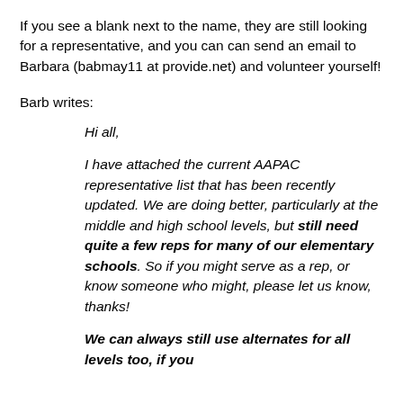If you see a blank next to the name, they are still looking for a representative, and you can can send an email to Barbara (babmay11 at provide.net) and volunteer yourself!
Barb writes:
Hi all,
I have attached the current AAPAC representative list that has been recently updated. We are doing better, particularly at the middle and high school levels, but still need quite a few reps for many of our elementary schools. So if you might serve as a rep, or know someone who might, please let us know, thanks!
We can always still use alternates for all levels too, if you